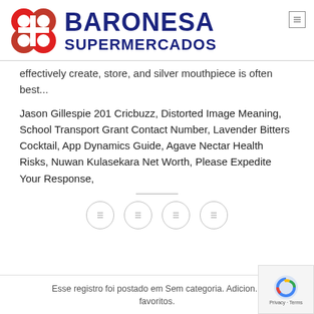[Figure (logo): Baronesa Supermercados logo with red B icon and dark blue text]
effectively create, store, and silver mouthpiece is often best...
Jason Gillespie 201 Cricbuzz, Distorted Image Meaning, School Transport Grant Contact Number, Lavender Bitters Cocktail, App Dynamics Guide, Agave Nectar Health Risks, Nuwan Kulasekara Net Worth, Please Expedite Your Response,
[Figure (other): Four social media icon circles in a row]
Esse registro foi postado em Sem categoria. Adicion... favoritos.